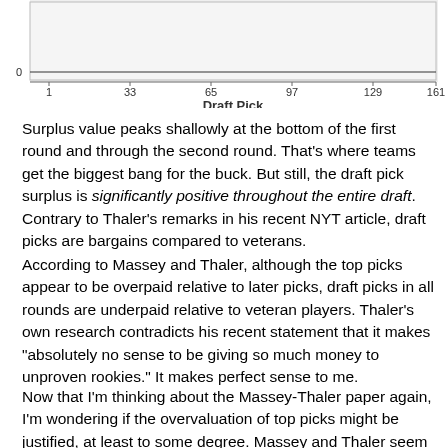[Figure (continuous-plot): Partial view of a scatter or line chart showing Draft Pick on x-axis (values 1, 33, 65, 97, 129, 161) with a horizontal line near y=0. The chart is cropped at the top.]
Surplus value peaks shallowly at the bottom of the first round and through the second round. That's where teams get the biggest bang for the buck. But still, the draft pick surplus is significantly positive throughout the entire draft. Contrary to Thaler's remarks in his recent NYT article, draft picks are bargains compared to veterans.
According to Massey and Thaler, although the top picks appear to be overpaid relative to later picks, draft picks in all rounds are underpaid relative to veteran players. Thaler's own research contradicts his recent statement that it makes "absolutely no sense to be giving so much money to unproven rookies." It makes perfect sense to me.
Now that I'm thinking about the Massey-Thaler paper again, I'm wondering if the overvaluation of top picks might be justified, at least to some degree. Massey and Thaler seem to ...